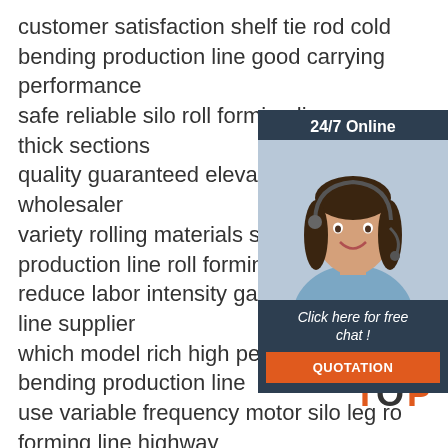customer satisfaction shelf tie rod cold bending production line good carrying performance
safe reliable silo roll forming line thick sections
quality guaranteed elevator product wholesaler
variety rolling materials shelf cold production line roll forming function
reduce labor intensity garage production line supplier
which model rich high performance bending production line
use variable frequency motor silo leg roll forming line highway
where i buy fast logistics good performance stainless steel production line
[Figure (infographic): 24/7 Online chat widget with a customer service representative photo, 'Click here for free chat!' text, and an orange QUOTATION button]